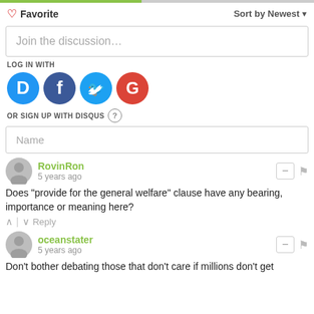[Figure (other): Green progress bar at top of page]
♡ Favorite
Sort by Newest ▾
Join the discussion…
LOG IN WITH
[Figure (infographic): Social login icons: Disqus (blue D), Facebook (dark blue F), Twitter (light blue bird), Google (red G)]
OR SIGN UP WITH DISQUS ?
Name
RovinRon
5 years ago
Does "provide for the general welfare" clause have any bearing, importance or meaning here?
↑ | ↓  Reply
oceanstater
5 years ago
Don't bother debating those that don't care if millions don't get